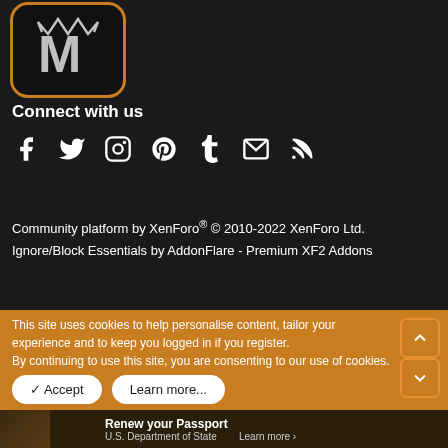[Figure (logo): App icon with crown/letter M on dark background with orange rounded border]
Connect with us
[Figure (infographic): Social media icons row: Facebook, Twitter, Instagram, Pinterest, Tumblr, Email, RSS]
Community platform by XenForo® © 2010-2022 XenForo Ltd. Ignore/Block Essentials by AddonFlare - Premium XF2 Addons
This site uses cookies to help personalise content, tailor your experience and to keep you logged in if you register. By continuing to use this site, you are consenting to our use of cookies.
✓ Accept   Learn more...
[Figure (photo): Advertisement: Renew your Passport - U.S. Department of State - Learn more]